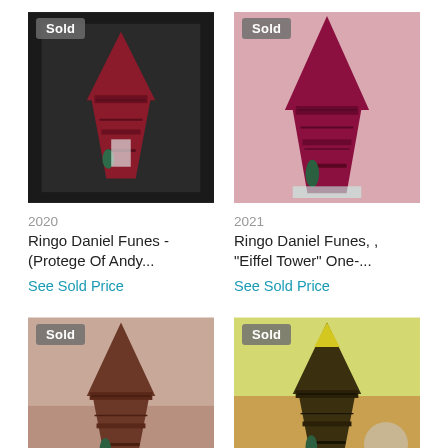[Figure (photo): Framed artwork showing Eiffel Tower in dark red/crimson tones with black frame, 'Sold' badge top left]
2020
Ringo Daniel Funes - (Protege Of Andy...
See Sold Price
[Figure (photo): Artwork showing Eiffel Tower in magenta/pink tones, 'Sold' badge top left]
2021
Ringo Daniel Funes, , "Eiffel Tower" One-...
See Sold Price
[Figure (photo): Artwork showing Eiffel Tower in brownish-pink tones, 'Sold' badge top left]
[Figure (photo): Artwork showing Eiffel Tower in yellow/green tones, 'Sold' badge top left]